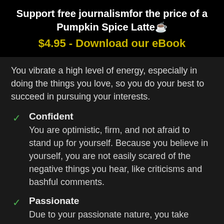Support free journalism​for the price of a Pumpkin Spice Latte☕ $4.95 - Download our eBook
You vibrate a high level of energy, especially in doing the things you love, so you do your best to succeed in pursuing your interests.
Confident
You are optimistic, firm, and not afraid to stand up for yourself. Because you believe in yourself, you are not easily scared of the negative things you hear, like criticisms and bashful comments.
Passionate
Due to your passionate nature, you take things personally and rarely back down. As a result, you have strong emotions about many things and know precisely how to defend your